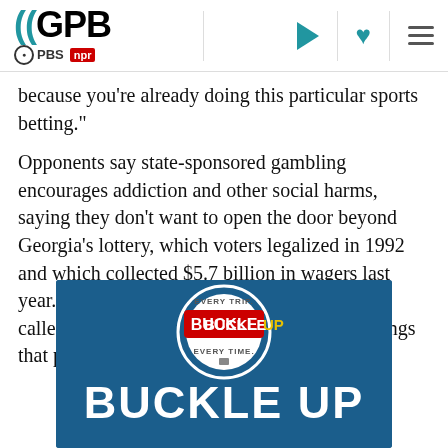GPB / PBS / NPR logo and navigation
because you're already doing this particular sports betting."
Opponents say state-sponsored gambling encourages addiction and other social harms, saying they don't want to open the door beyond Georgia's lottery, which voters legalized in 1992 and which collected $5.7 billion in wagers last year. Rep Randy Nix, a LaGrange Republican, called gambling "one of the most addictive things that people can do."
[Figure (infographic): Buckle Up Every Trip Every Time advertisement with circular badge logo and large BUCKLE UP text on dark blue background]